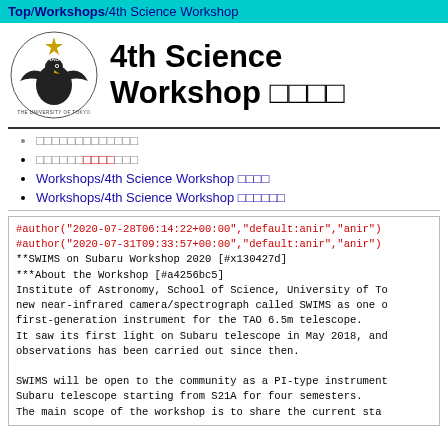Top/Workshops/4th Science Workshop
[Figure (logo): TAO (The University of Tokyo) eagle logo with sun emblem]
4th Science Workshop □□□□
□□□□□□□□□□□□□
□□□□□□□□□□□□□
Workshops/4th Science Workshop □□□□
Workshops/4th Science Workshop □□□□□□
#author("2020-07-28T06:14:22+00:00","default:anir","anir")
#author("2020-07-31T09:33:57+00:00","default:anir","anir")
**SWIMS on Subaru Workshop 2020 [#x130427d]
***About the Workshop [#a4256bc5]
Institute of Astronomy, School of Science, University of To
new near-infrared camera/spectrograph called SWIMS as one o
first-generation instrument for the TAO 6.5m telescope.
It saw its first light on Subaru telescope in May 2018, and
observations has been carried out since then.

SWIMS will be open to the community as a PI-type instrument
Subaru telescope starting from S21A for four semesters.
The main scope of the workshop is to share the current sta